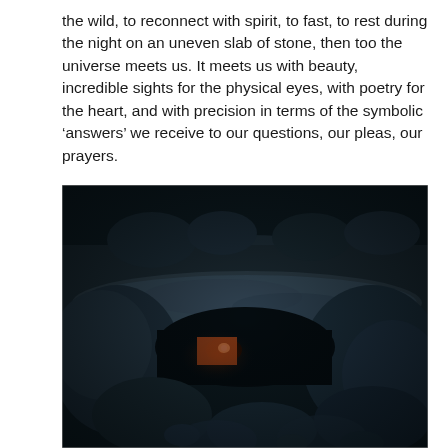the wild, to reconnect with spirit, to fast, to rest during the night on an uneven slab of stone, then too the universe meets us. It meets us with beauty, incredible sights for the physical eyes, with poetry for the heart, and with precision in terms of the symbolic ‘answers’ we receive to our questions, our pleas, our prayers.
[Figure (photo): A dark photograph showing a stone structure or ancient cairn/dolmen with a small opening through which a warm orange-yellow light (possibly a candle or fire) glows. The surrounding stones are dark grey-blue, and the image has a moody, atmospheric quality.]